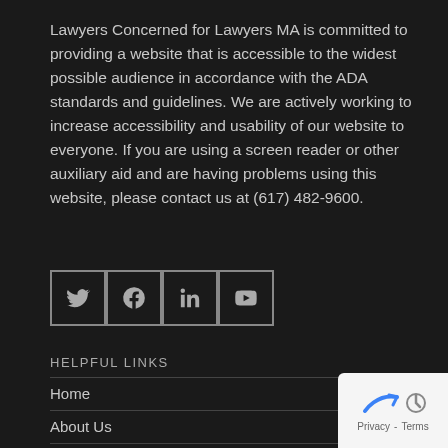Lawyers Concerned for Lawyers MA is committed to providing a website that is accessible to the widest possible audience in accordance with the ADA standards and guidelines. We are actively working to increase accessibility and usability of our website to everyone. If you are using a screen reader or other auxiliary aid and are having problems using this website, please contact us at (617) 482-9600.
[Figure (illustration): Social media icon buttons for Twitter, Facebook, LinkedIn, and YouTube, each in a square outlined box]
HELPFUL LINKS
Home
About Us
COVID-19